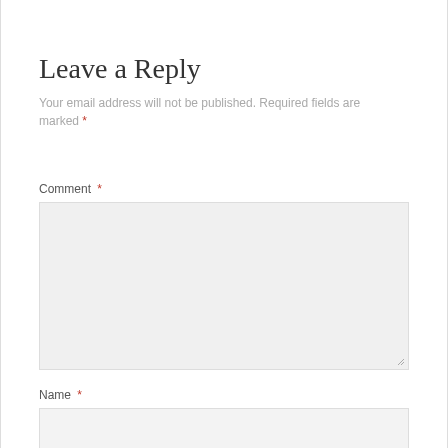Leave a Reply
Your email address will not be published. Required fields are marked *
Comment *
Name *
Email